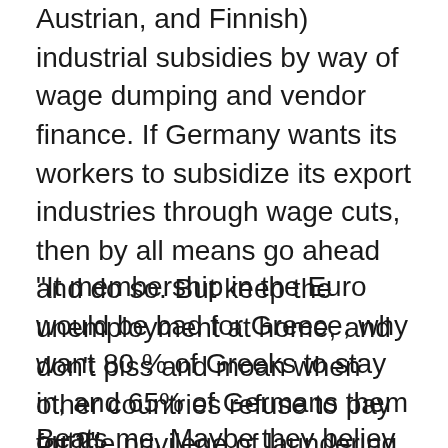Austrian, and Finnish) industrial subsidies by way of wage dumping and vendor finance. If Germany wants its workers to subsidize its export industries through wage cuts, then by all means go ahead and do so. But keep the unemployment at home, and don't piss and moan when other countries refuse to pay for the privilege of laundering your export subsidies.
"It membership in the Euro would be bad for Greece, why want 80 % of Greeks to stay in, and 65% of Germans them out?"
Beats me. Maybe they believ...